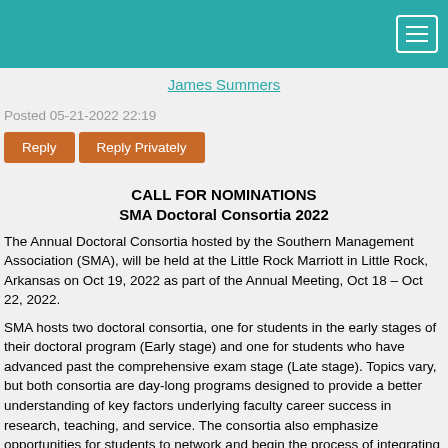James Summers
Posted 05-21-2022 22:19
Reply   Reply Privately
CALL FOR NOMINATIONS
SMA Doctoral Consortia 2022
The Annual Doctoral Consortia hosted by the Southern Management Association (SMA), will be held at the Little Rock Marriott in Little Rock, Arkansas on Oct 19, 2022 as part of the Annual Meeting, Oct 18 – Oct 22, 2022.
SMA hosts two doctoral consortia, one for students in the early stages of their doctoral program (Early stage) and one for students who have advanced past the comprehensive exam stage (Late stage). Topics vary, but both consortia are day-long programs designed to provide a better understanding of key factors underlying faculty career success in research, teaching, and service. The consortia also emphasize opportunities for students to network and begin the process of integrating themselves into the profession.  As in years past, the program will feature nationally recognized scholars who will lead